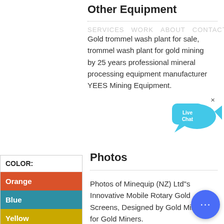Other Equipment
Gold trommel wash plant for sale, trommel wash plant for gold mining by 25 years professional mineral processing equipment manufacturer YEES Mining Equipment.
[Figure (illustration): Live Chat speech bubble icon with blue fish and close (x) button in top right corner]
Photos
Photos of Minequip (NZ) Ltd"s Innovative Mobile Rotary Gold Screens, Designed by Gold Miners for Gold Miners.
[Figure (infographic): Color panel on left side showing COLOR label and three color swatches: Orange, Blue, Yellow]
[Figure (illustration): Blue circular chat button with three dots in bottom right corner]